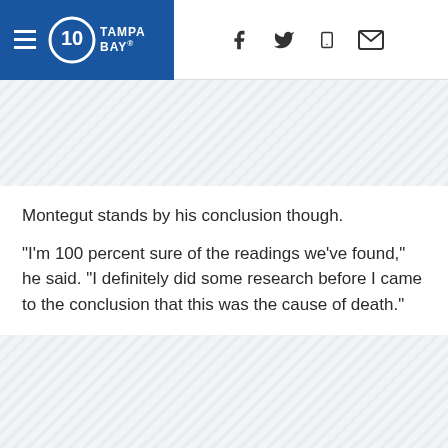10 Tampa Bay (logo) | social icons (Facebook, Twitter, Mobile, Email)
[Figure (other): Diagonal stripe advertisement/banner placeholder band]
Montegut stands by his conclusion though.
"I'm 100 percent sure of the readings we've found," he said. “I definitely did some research before I came to the conclusion that this was the cause of death."
[Figure (other): Diagonal stripe advertisement/banner placeholder band]
[Figure (other): Diagonal stripe advertisement/banner placeholder band (small)]